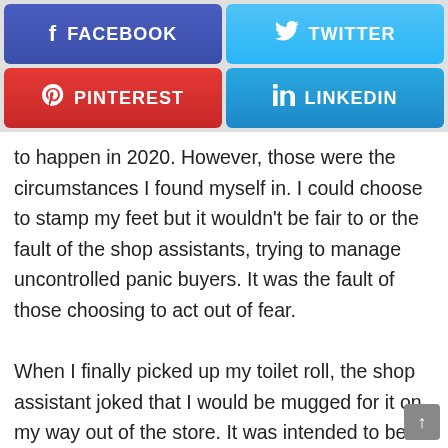[Figure (infographic): Four social media share buttons in a 2x2 grid: Facebook (dark blue), Twitter (light blue), Pinterest (red), LinkedIn (blue)]
to happen in 2020. However, those were the circumstances I found myself in. I could choose to stamp my feet but it wouldn't be fair to or the fault of the shop assistants, trying to manage uncontrolled panic buyers. It was the fault of those choosing to act out of fear.

When I finally picked up my toilet roll, the shop assistant joked that I would be mugged for it on my way out of the store. It was intended to be light hearted but made me dart a bit more quickly out the store after that, I have to say, I did keep a few